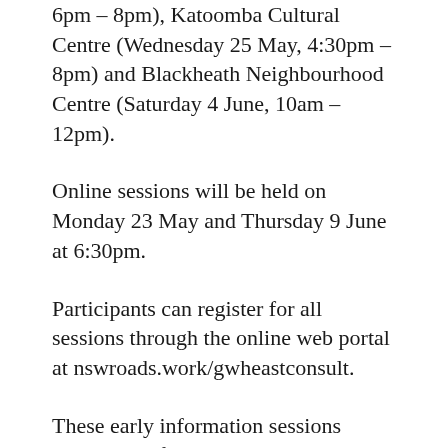6pm – 8pm), Katoomba Cultural Centre (Wednesday 25 May, 4:30pm – 8pm) and Blackheath Neighbourhood Centre (Saturday 4 June, 10am – 12pm).
Online sessions will be held on Monday 23 May and Thursday 9 June at 6:30pm.
Participants can register for all sessions through the online web portal at nswroads.work/gwheastconsult.
These early information sessions precede the formal consultation which will come later in 2022 when the Environmental Impact Assessment for the Blackheath to Little Hartley tunnel goes on exhibition.